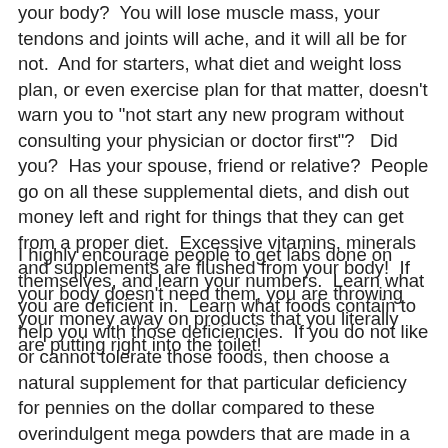your body?  You will lose muscle mass, your tendons and joints will ache, and it will all be for not.  And for starters, what diet and weight loss plan, or even exercise plan for that matter, doesn't warn you to "not start any new program without consulting your physician or doctor first"?   Did you?  Has your spouse, friend or relative?  People go on all these supplemental diets, and dish out money left and right for things that they can get from a proper diet.  Excessive vitamins, minerals and supplements are flushed from your body!  If your body doesn't need them, you are throwing your money away on products that you literally are putting right into the toilet!
I highly encourage people to get labs done on themselves, and learn your numbers.  Learn what you are deficient in.  Learn what foods contain to help you with those deficiencies.  If you do not like or cannot tolerate those foods, then choose a natural supplement for that particular deficiency for pennies on the dollar compared to these overindulgent mega powders that are made in a lab.  While there are some synthetic supplements that can be just as effective, overall, natural is best according to independent